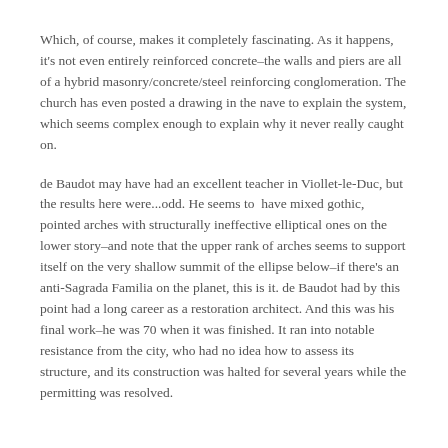Which, of course, makes it completely fascinating.  As it happens, it's not even entirely reinforced concrete–the walls and piers are all of a hybrid masonry/concrete/steel reinforcing conglomeration.  The church has even posted a drawing in the nave to explain the system, which seems complex enough to explain why it never really caught on.
de Baudot may have had an excellent teacher in Viollet-le-Duc, but the results here were...odd.  He seems to  have mixed gothic, pointed arches with structurally ineffective elliptical ones on the lower story–and note that the upper rank of arches seems to support itself on the very shallow summit of the ellipse below–if there's an anti-Sagrada Familia on the planet, this is it.  de Baudot had by this point had a long career as a restoration architect.  And this was his final work–he was 70 when it was finished.  It ran into notable resistance from the city, who had no idea how to assess its structure, and its construction was halted for several years while the permitting was resolved.